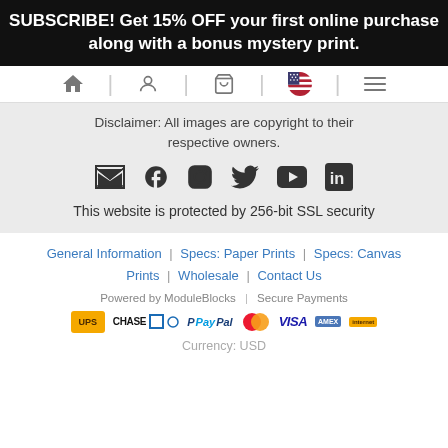SUBSCRIBE! Get 15% OFF your first online purchase along with a bonus mystery print.
[Figure (screenshot): Navigation bar with home, account, cart, flag, and menu icons]
Disclaimer: All images are copyright to their respective owners.
[Figure (infographic): Social media icons: email, Facebook, Instagram, Twitter, YouTube, LinkedIn]
This website is protected by 256-bit SSL security
General Information | Specs: Paper Prints | Specs: Canvas Prints | Wholesale | Contact Us
Powered by ModuleBlocks | Secure Payments
[Figure (infographic): Payment logos: UPS, Chase, PayPal, Mastercard, Visa, Amex, Internet]
Currency: USD